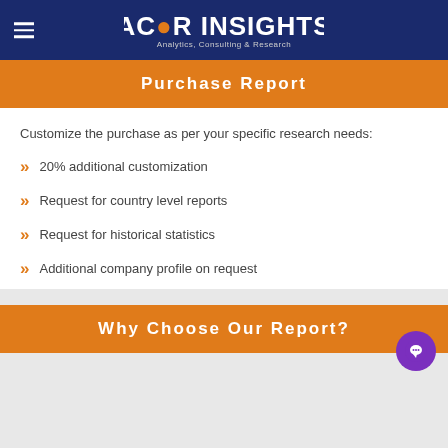ACOR INSIGHTS - Analytics, Consulting & Research
Purchase Report
Customize the purchase as per your specific research needs:
20% additional customization
Request for country level reports
Request for historical statistics
Additional company profile on request
Why Choose Our Report?